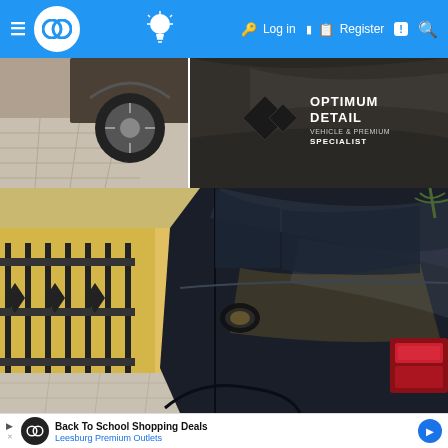≡ [logo] 💡 🔑 Log in 📋 Register 💬 🔍
[Figure (photo): Two car detailing photos side by side: left shows a car wheel/fender on concrete pavement, right shows a dark car panel with Optimum Detail Specialist logo overlay]
[Figure (photo): Close-up photo of a dark blue/black SUV parked beside a yellow building with iron fence gate, showing the rear quarter panel, tail light, and side mirror]
Back To School Shopping Deals
Leesburg Premium Outlets